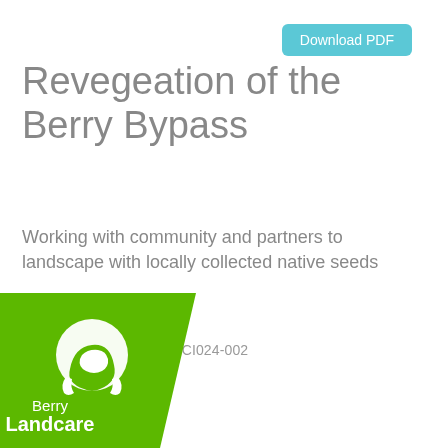[Figure (logo): Download PDF button — cyan/teal rounded rectangle with white text]
Revegetation of the Berry Bypass
Working with community and partners to landscape with locally collected native seeds
Making a Difference -  LLCI024-002
[Figure (logo): Berry Landcare logo — green pentagon/shield shape with white hands/Australia silhouette icon and text 'Berry Landcare']